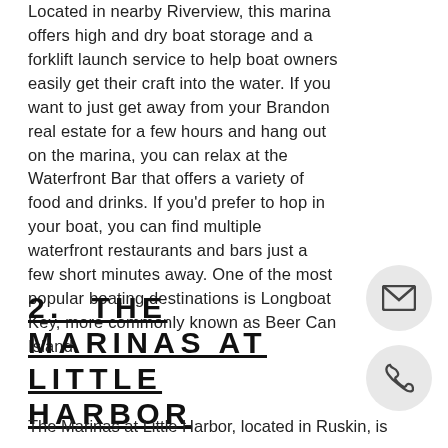Located in nearby Riverview, this marina offers high and dry boat storage and a forklift launch service to help boat owners easily get their craft into the water. If you want to just get away from your Brandon real estate for a few hours and hang out on the marina, you can relax at the Waterfront Bar that offers a variety of food and drinks. If you'd prefer to hop in your boat, you can find multiple waterfront restaurants and bars just a few short minutes away. One of the most popular boating destinations is Longboat Key, more commonly known as Beer Can Island.
2.  THE MARINAS AT LITTLE HARBOR
The Marinas at Little Harbor, located in Ruskin, is